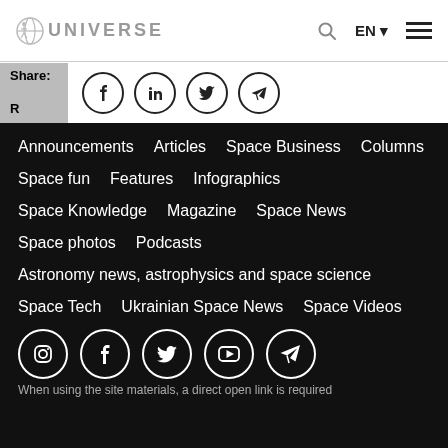Universe — EN navigation header with search and language selector
Share: R
Announcements   Articles   Space Business   Columns
Space fun   Features   Infographics
Space Knowledge   Magazine   Space News
Space photos   Podcasts
Astronomy news, astrophysics and space science
Space Tech   Ukrainian Space News   Space Videos
[Figure (illustration): Social media icon buttons row: Instagram, Facebook, Twitter/X, YouTube, Telegram]